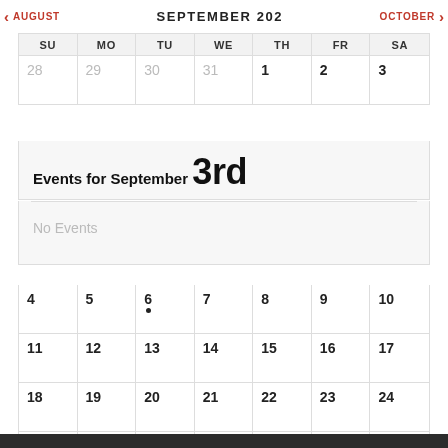< AUGUST   SEPTEMBER 202   OCTOBER >
| SU | MO | TU | WE | TH | FR | SA |
| --- | --- | --- | --- | --- | --- | --- |
| 28 | 29 | 30 | 31 | 1 | 2 | 3 |
| 4 | 5 | 6 | 7 | 8 | 9 | 10 |
| 11 | 12 | 13 | 14 | 15 | 16 | 17 |
| 18 | 19 | 20 | 21 | 22 | 23 | 24 |
| 25 | 26 | 27 | 28 | 29 | 30 | 1 |
Events for September 3rd
No Events